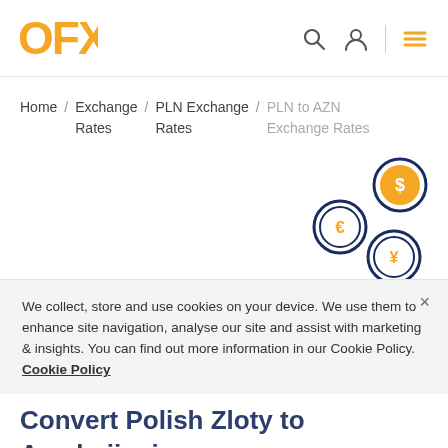OFX
Home / Exchange Rates / PLN Exchange Rates / PLN to AZN Exchange Rates
[Figure (illustration): Three decorative currency coin icons (dollar, euro, yen) arranged diagonally in the upper-right area. Each coin has a dark navy border ring and orange fill with a currency symbol inside.]
We collect, store and use cookies on your device. We use them to enhance site navigation, analyse our site and assist with marketing & insights. You can find out more information in our Cookie Policy. Cookie Policy
Convert Polish Zloty to Azerbaijani new manat. Get great foreign